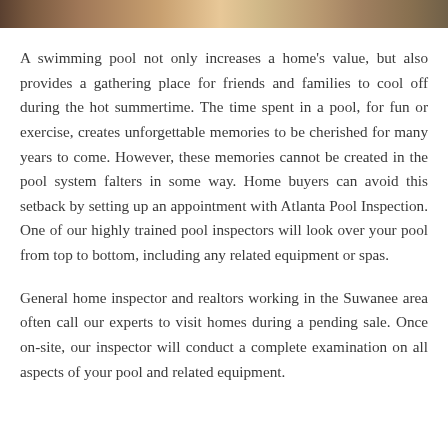[Figure (photo): Partial view of a photo strip at the top of the page showing what appears to be a pool or outdoor scene in warm tones.]
A swimming pool not only increases a home's value, but also provides a gathering place for friends and families to cool off during the hot summertime. The time spent in a pool, for fun or exercise, creates unforgettable memories to be cherished for many years to come. However, these memories cannot be created in the pool system falters in some way. Home buyers can avoid this setback by setting up an appointment with Atlanta Pool Inspection. One of our highly trained pool inspectors will look over your pool from top to bottom, including any related equipment or spas.
General home inspector and realtors working in the Suwanee area often call our experts to visit homes during a pending sale. Once on-site, our inspector will conduct a complete examination on all aspects of your pool and related equipment.